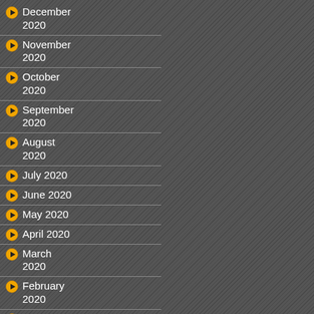December 2020
November 2020
October 2020
September 2020
August 2020
July 2020
June 2020
May 2020
April 2020
March 2020
February 2020
January 2020
December 2019
November 2019
October